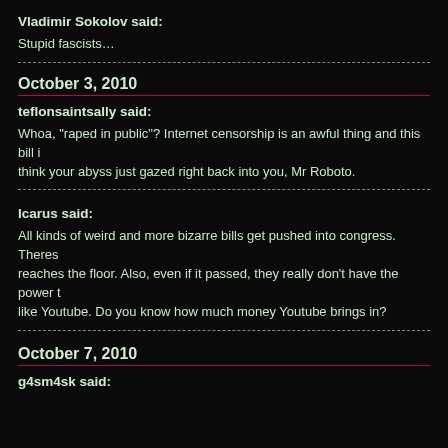Vladimir Sokolov said:
Stupid fascists…
October 3, 2010
teflonsaintsally said:
Whoa, "raped in public"? Internet censorship is an awful thing and this bill i… think your abyss just gazed right back into you, Mr Roboto.
Icarus said:
All kinds of weird and more bizarre bills get pushed into congress. Theres … reaches the floor. Also, even if it passed, they really don't have the power t… like Youtube. Do you know how much money Youtube brings in?
October 7, 2010
g4sm4sk said: